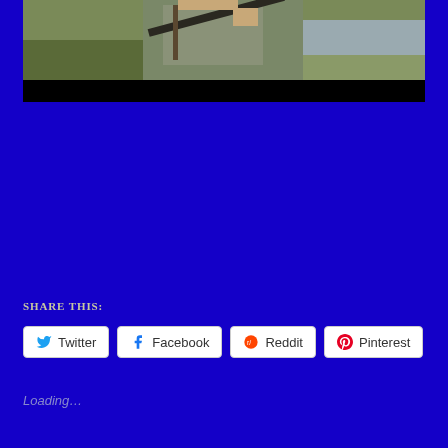[Figure (photo): A person holding a rifle or long gun over their shoulder, outdoors near a river or water body with green vegetation, wearing a grey long-sleeve shirt with a strap/sling. Bottom portion of the image is a black bar.]
SHARE THIS:
Twitter
Facebook
Reddit
Pinterest
Loading…